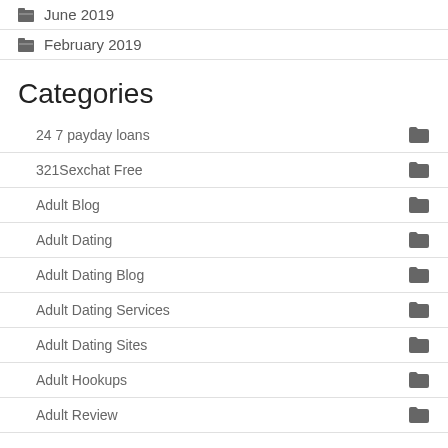June 2019
February 2019
Categories
24 7 payday loans
321Sexchat Free
Adult Blog
Adult Dating
Adult Dating Blog
Adult Dating Services
Adult Dating Sites
Adult Hookups
Adult Review